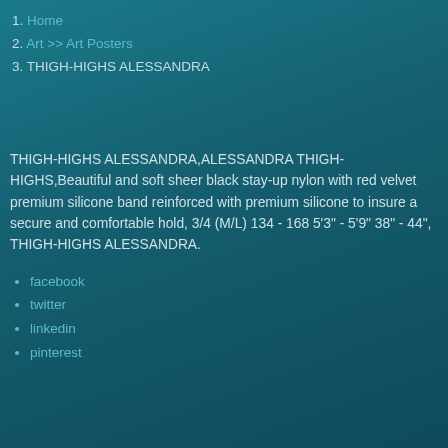1. Home
2. Art >> Art Posters
3. THIGH-HIGHS ALESSANDRA
THIGH-HIGHS ALESSANDRA,ALESSANDRA THIGH-HIGHS,Beautiful and soft sheer black stay-up nylon with red velvet premium silicone band reinforced with premium silicone to insure a secure and comfortable hold, 3/4 (M/L) 134 - 168 5'3" - 5'9" 38" - 44", THIGH-HIGHS ALESSANDRA.
facebook
twitter
linkedin
pinterest